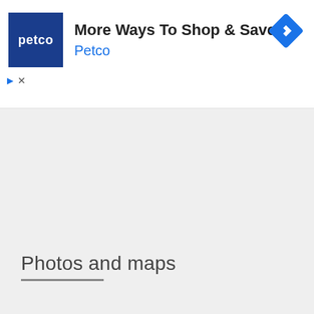[Figure (screenshot): Petco advertisement banner with logo, headline 'More Ways To Shop & Save', brand name 'Petco', navigation diamond icon, and ad controls]
[Figure (screenshot): Collapse/minimize tab with upward chevron arrow]
Photos and maps